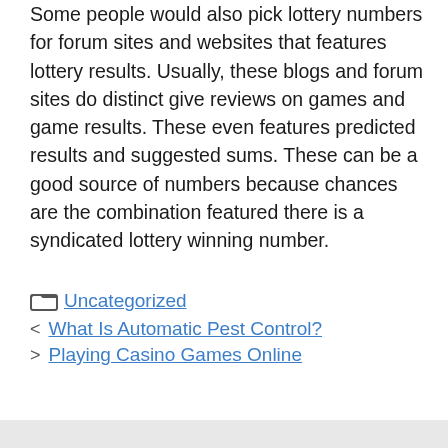Some people would also pick lottery numbers for forum sites and websites that features lottery results. Usually, these blogs and forum sites do distinct give reviews on games and game results. These even features predicted results and suggested sums. These can be a good source of numbers because chances are the combination featured there is a syndicated lottery winning number.
Uncategorized
What Is Automatic Pest Control?
Playing Casino Games Online